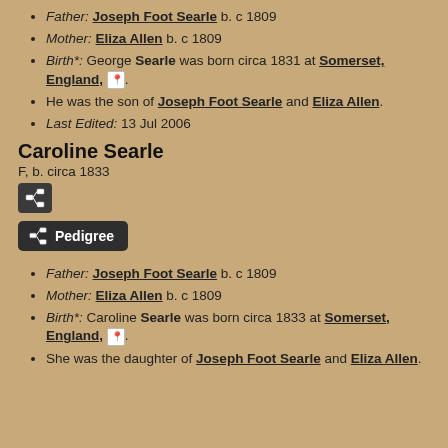Father: Joseph Foot Searle b. c 1809
Mother: Eliza Allen b. c 1809
Birth*: George Searle was born circa 1831 at Somerset, England,.
He was the son of Joseph Foot Searle and Eliza Allen.
Last Edited: 13 Jul 2006
Caroline Searle
F, b. circa 1833
[Figure (infographic): Small pedigree/tree icon button (dark background)]
[Figure (infographic): Pedigree button with tree icon and text label]
Father: Joseph Foot Searle b. c 1809
Mother: Eliza Allen b. c 1809
Birth*: Caroline Searle was born circa 1833 at Somerset, England,.
She was the daughter of Joseph Foot Searle and Eliza Allen.